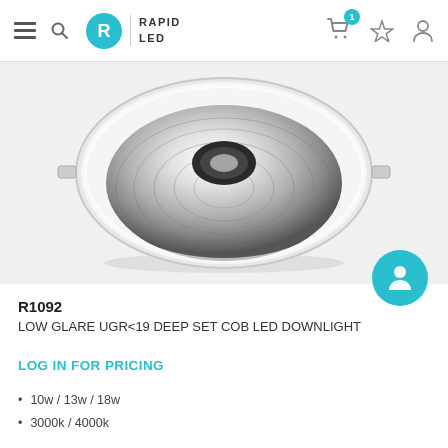RAPID LED — navigation header with hamburger menu, search, logo, cart (1 item), favorites, and account icons
[Figure (photo): Round white recessed LED downlight (R1092) with a deep-set chrome reflector bowl and COB LED centre, shown from a slight angle against a light grey background.]
R1092
LOW GLARE UGR<19 DEEP SET COB LED DOWNLIGHT
LOG IN FOR PRICING
10w / 13w / 18w
3000k / 4000k